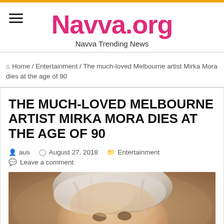Navva.org — Navva Trending News
Home / Entertainment / The much-loved Melbourne artist Mirka Mora dies at the age of 90
THE MUCH-LOVED MELBOURNE ARTIST MIRKA MORA DIES AT THE AGE OF 90
aus   August 27, 2018   Entertainment   Leave a comment
[Figure (photo): Close-up portrait photo of an elderly woman with white/silver hair, looking upward, warm brownish background.]